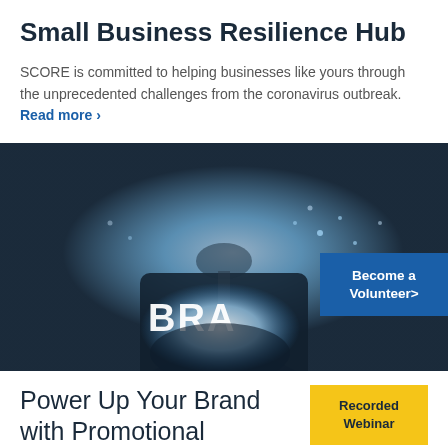Small Business Resilience Hub
SCORE is committed to helping businesses like yours through the unprecedented challenges from the coronavirus outbreak. Read more >
[Figure (photo): Person in dark suit holding glowing 'BRAND' text in hand against dark blue background, with a blue badge overlay reading 'Become a Volunteer>']
Power Up Your Brand with Promotional
Recorded Webinar